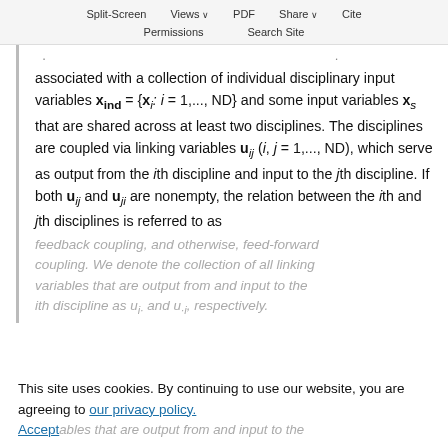Split-Screen  Views  PDF  Share  Cite  Permissions  Search Site
associated with a collection of individual disciplinary input variables x_ind = {x_i: i = 1,..., ND} and some input variables x_s that are shared across at least two disciplines. The disciplines are coupled via linking variables u_ij (i, j = 1,..., ND), which serve as output from the ith discipline and input to the jth discipline. If both u_ij and u_ji are nonempty, the relation between the ith and jth disciplines is referred to as
feedback coupling, and otherwise, feed-forward coupling. We denote the collection of all linking variables that are output from and input to the ith discipline as u_i· and u_·i, respectively.